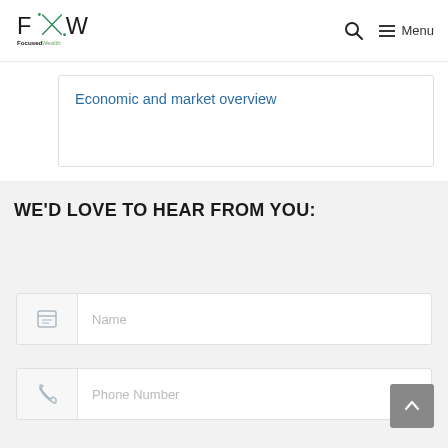Focused Wealth — Navigation bar with logo, search icon, and Menu
Economic and market overview
WE'D LOVE TO HEAR FROM YOU:
Name (form field)
Phone Number (form field)